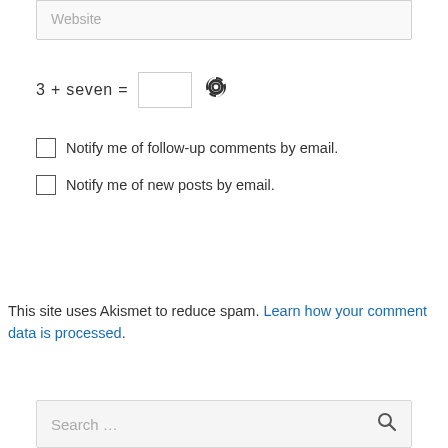[Figure (screenshot): Website input field placeholder text]
3  +  seven  =
[Figure (other): CAPTCHA text input box and refresh icon]
Notify me of follow-up comments by email.
Notify me of new posts by email.
[Figure (other): Post Comment » button]
This site uses Akismet to reduce spam. Learn how your comment data is processed.
[Figure (screenshot): Search ... input box with search icon]